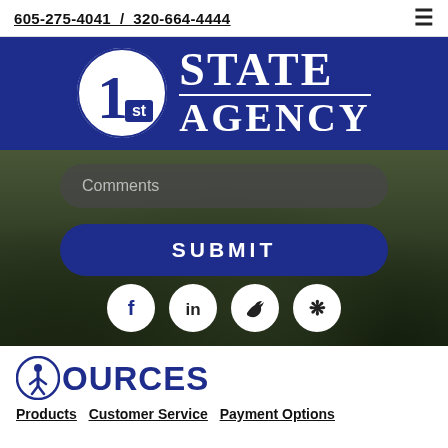605-275-4041 / 320-664-4444
[Figure (logo): 1st State Agency logo with circular emblem showing '1st' and large text 'STATE AGENCY' on dark blue background]
Comments
SUBMIT
[Figure (infographic): Social media icons: Facebook, LinkedIn, Twitter, Yelp]
RESOURCES
Products  Customer Service  Payment Options